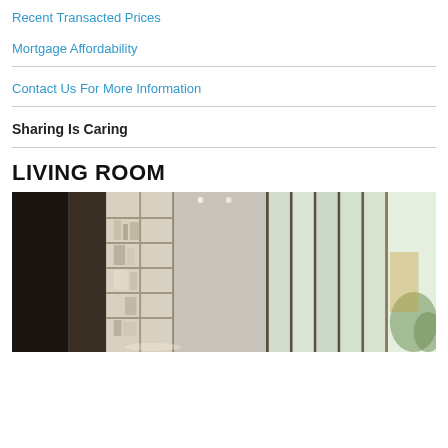Recent Transacted Prices
Mortgage Affordability
Contact Us For More Information
Sharing Is Caring
LIVING ROOM
[Figure (photo): Interior living room photo showing a hallway with built-in bookshelves on the left side and floor-to-ceiling windows with sheer curtains on the right side, modern upscale apartment decor]